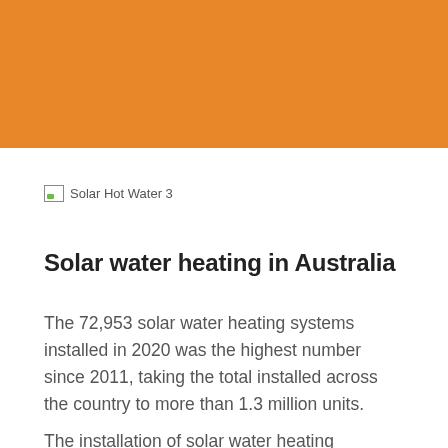[Figure (photo): Orange banner/header background]
[Figure (photo): Solar Hot Water 3 image placeholder with broken image icon]
Solar water heating in Australia
The 72,953 solar water heating systems installed in 2020 was the highest number since 2011, taking the total installed across the country to more than 1.3 million units.
The installation of solar water heating